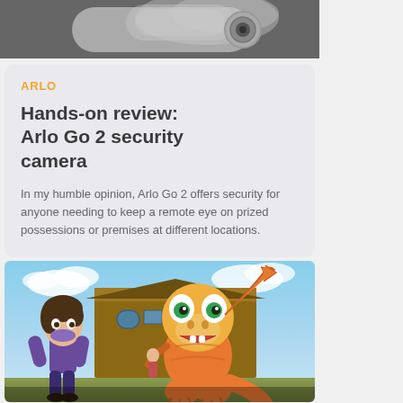[Figure (photo): Partial top image of Arlo Go 2 security camera, white camera body visible against dark background]
ARLO
Hands-on review: Arlo Go 2 security camera
In my humble opinion, Arlo Go 2 offers security for anyone needing to keep a remote eye on prized possessions or premises at different locations.
[Figure (photo): Anime screenshot showing a boy in purple outfit and an orange dinosaur-like Digimon creature (Agumon) waving, with a wooden building in the background and blue sky]